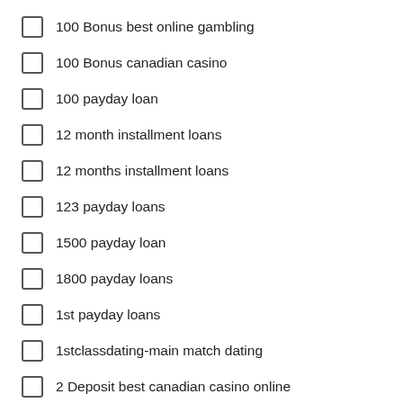100 Bonus best online gambling
100 Bonus canadian casino
100 payday loan
12 month installment loans
12 months installment loans
123 payday loans
1500 payday loan
1800 payday loans
1st payday loans
1stclassdating-main match dating
2 Deposit best canadian casino online
2 Deposit best online gambling
2 Deposit casinos ca